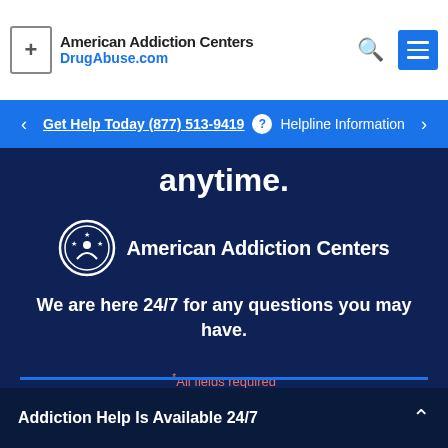American Addiction Centers DrugAbuse.com
Get Help Today (877) 513-9419 ? Helpline Information
anytime.
[Figure (logo): American Addiction Centers circular logo with stars and figure, next to text 'American Addiction Centers']
We are here 24/7 for any questions you may have.
* All fields required
First Name *  John
Addiction Help Is Available 24/7